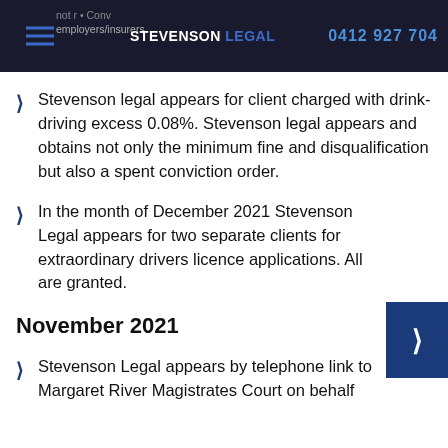STEVENSON LEGAL  0412 927 704  not ... employers/insurers.
Stevenson legal appears for client charged with drink-driving excess 0.08%. Stevenson legal appears and obtains not only the minimum fine and disqualification but also a spent conviction order.
In the month of December 2021 Stevenson Legal appears for two separate clients for extraordinary drivers licence applications. All are granted.
November 2021
Stevenson Legal appears by telephone link to Margaret River Magistrates Court on behalf